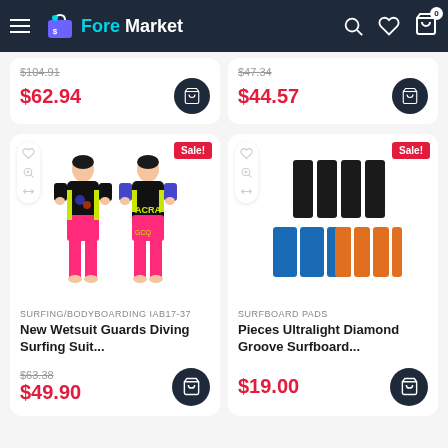ForeMarket - navigation bar with hamburger menu, logo, search, wishlist, cart (0)
$104.91 $62.94
$47.34 $44.57
[Figure (photo): Two women modeling a colorful wetsuit/surfing suit in pink and black with bright designs]
Sale!
SURFING/BODYBOARDING IAB17-37
New Wetsuit Guards Diving Surfing Suit...
$63.38 $49.90
[Figure (photo): Surfboard traction pads: three black rectangular pads on top, three blue and four orange rectangular pads below]
Sale!
SURFBOARD PADS
Pieces Ultralight Diamond Groove Surfboard...
$19.00